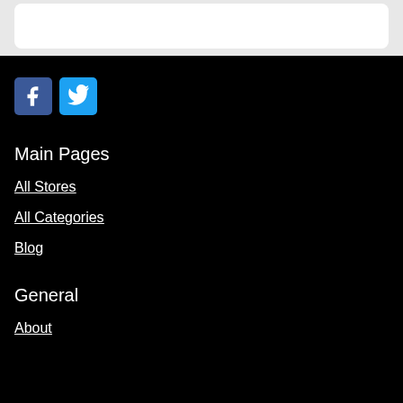[Figure (other): White card element on grey background at top of page]
[Figure (other): Facebook and Twitter social media icon buttons on black background]
Main Pages
All Stores
All Categories
Blog
General
About